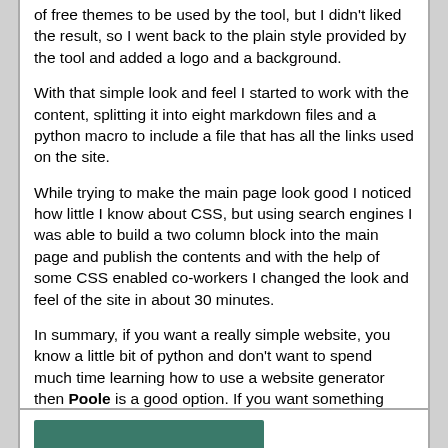of free themes to be used by the tool, but I didn't liked the result, so I went back to the plain style provided by the tool and added a logo and a background.
With that simple look and feel I started to work with the content, splitting it into eight markdown files and a python macro to include a file that has all the links used on the site.
While trying to make the main page look good I noticed how little I know about CSS, but using search engines I was able to build a two column block into the main page and publish the contents and with the help of some CSS enabled co-workers I changed the look and feel of the site in about 30 minutes.
In summary, if you want a really simple website, you know a little bit of python and don't want to spend much time learning how to use a website generator then Poole is a good option. If you want something more complex I still think that ikiwiki is a good option, but YMMV.
Posted Sat 01 Oct 2011 23:49:39 CEST